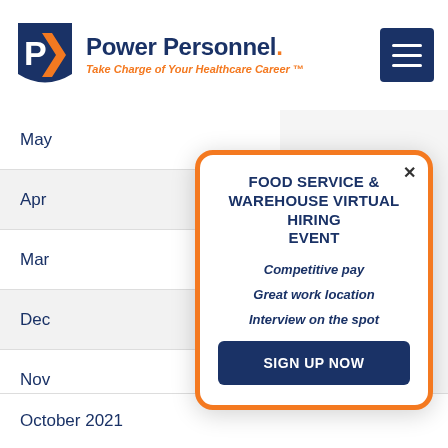[Figure (logo): Power Personnel logo with orange and navy P icon, company name in navy bold, tagline 'Take Charge of Your Healthcare Career' in orange italic, and navy hamburger menu button top right]
May
Apr
Mar
Dec
Nov
October 2021
FOOD SERVICE & WAREHOUSE VIRTUAL HIRING EVENT
Competitive pay
Great work location
Interview on the spot
SIGN UP NOW